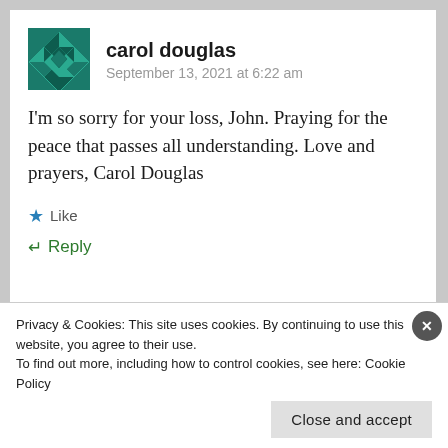carol douglas
September 13, 2021 at 6:22 am
I'm so sorry for your loss, John. Praying for the peace that passes all understanding. Love and prayers, Carol Douglas
Like
Reply
Privacy & Cookies: This site uses cookies. By continuing to use this website, you agree to their use.
To find out more, including how to control cookies, see here: Cookie Policy
Close and accept